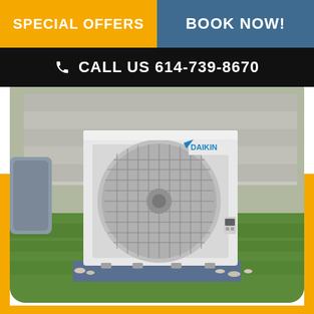SPECIAL OFFERS
BOOK NOW!
CALL US 614-739-8670
[Figure (photo): Daikin outdoor HVAC/air conditioning unit installed on a concrete pad on a grass lawn, with a building wall visible in the background.]